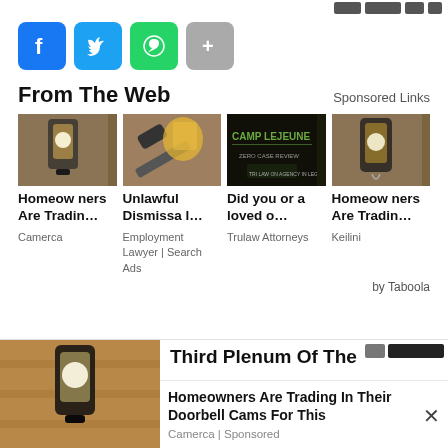[Figure (other): Social media share buttons: Facebook (blue), Twitter (blue), WhatsApp (green), Share/More (gray)]
From The Web
Sponsored Links
[Figure (photo): Thumbnail: outdoor wall lantern/camera]
[Figure (photo): Thumbnail: judge gavel with yellow hard hat in background]
[Figure (photo): Thumbnail: Camp Lejeune dark promotional image]
[Figure (photo): Thumbnail: outdoor wall lantern]
Homeowners Are Tradin…
Unlawful Dismissal…
Did you or a loved o…
Homeowners Are Tradin…
Camerca
Employment Lawyer | Search Ads
Trulaw Attorneys
Keilini
by Taboola
[Figure (photo): Partial bottom image: outdoor wall lamp on stone wall]
Third Plenum Of The
Homeowners Are Trading In Their Doorbell Cams For This
Camerca | Sponsored